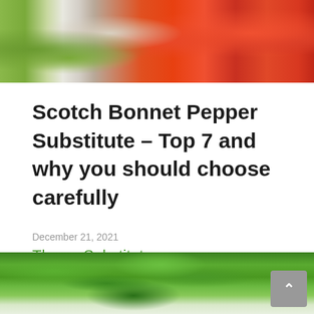[Figure (photo): Photo of colorful peppers including green and red scotch bonnet peppers in a bowl, cropped at top]
Scotch Bonnet Pepper Substitute – Top 7 and why you should choose carefully
December 21, 2021
Thyme Substitute
[Figure (photo): Photo of fresh thyme herb, green leaves, cropped at bottom of page]